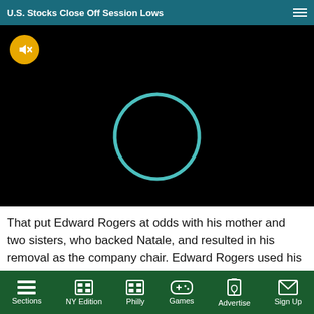[Figure (screenshot): Video player bar with title 'U.S. Stocks Close Off Session Lows' on teal background with hamburger menu icon, followed by black video player area showing a loading spinner (teal arc) and a muted button (orange circle with speaker-off icon)]
That put Edward Rogers at odds with his mother and two sisters, who backed Natale, and resulted in his removal as the company chair. Edward Rogers used his
[Figure (screenshot): Mobile bottom navigation bar with dark green background containing: Sections (hamburger icon), NY Edition (grid icon), Philly (grid icon), Games (gamepad icon), Advertise (phone icon), Sign Up (envelope icon)]